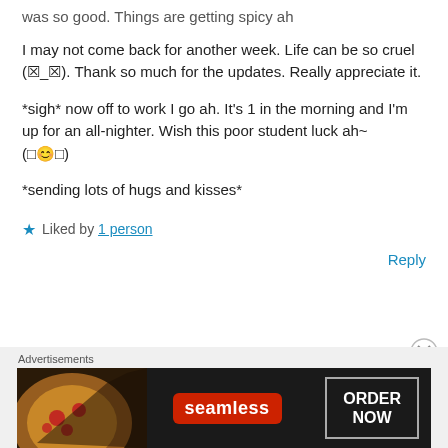was so good. Things are getting spicy ah
I may not come back for another week. Life can be so cruel (X_X). Thank so much for the updates. Really appreciate it.
*sigh* now off to work I go ah. It’s 1 in the morning and I’m up for an all-nighter. Wish this poor student luck ah~ (□υ□)
*sending lots of hugs and kisses*
★ Liked by 1 person
Reply
[Figure (screenshot): Seamless food delivery advertisement banner with pizza image, Seamless logo in red, and ORDER NOW button]
Advertisements